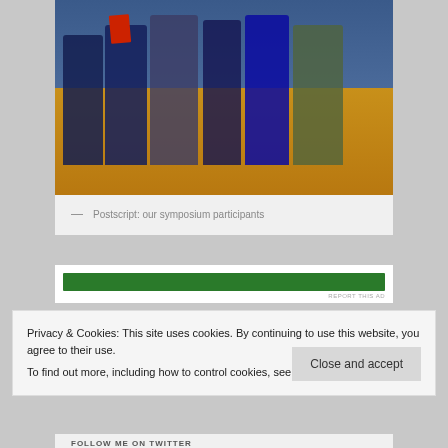[Figure (photo): Group photo of symposium participants standing together indoors, some holding red books, on an orange/brown floor with blue/dark background.]
— Postscript: our symposium participants
[Figure (other): Green advertisement bar with REPORT THIS AD text]
Privacy & Cookies: This site uses cookies. By continuing to use this website, you agree to their use.
To find out more, including how to control cookies, see here: Cookie Policy
Close and accept
FOLLOW ME ON TWITTER